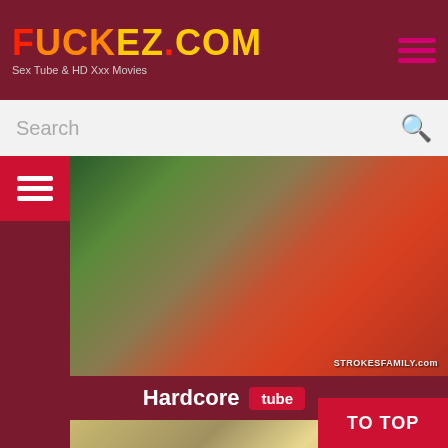FUCKEZ.COM - Sex Tube & HD Xxx Movies
Search
[Figure (screenshot): Video thumbnail showing two women outdoors with STOKESFAMILY.com watermark]
Hardcore tube
[Figure (screenshot): Video thumbnail showing blonde woman on bed]
TO TOP